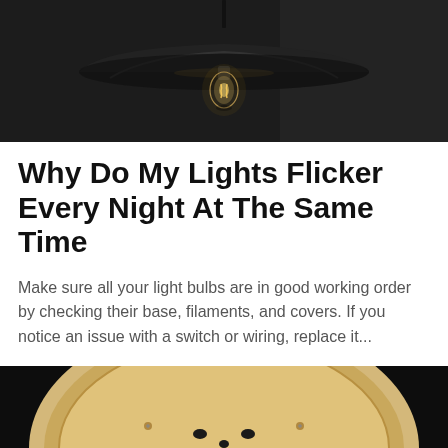[Figure (photo): Dark pendant lamp with Edison bulb glowing, hanging against a dark background]
Why Do My Lights Flicker Every Night At The Same Time
Make sure all your light bulbs are in good working order by checking their base, filaments, and covers. If you notice an issue with a switch or wiring, replace it...
[Figure (photo): Close-up of a light socket or electrical fixture against a dark background, partially visible at bottom of page]